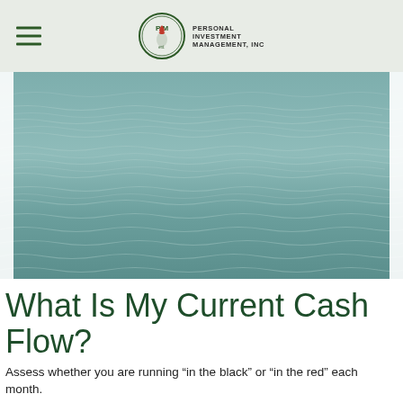Personal Investment Management, Inc
[Figure (photo): Aerial or close-up photograph of rippling water surface with greenish-blue tones]
What Is My Current Cash Flow?
Assess whether you are running “in the black” or “in the red” each month.